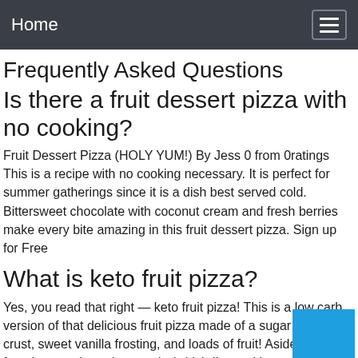Home
Frequently Asked Questions
Is there a fruit dessert pizza with no cooking?
Fruit Dessert Pizza (HOLY YUM!) By Jess 0 from 0ratings This is a recipe with no cooking necessary. It is perfect for summer gatherings since it is a dish best served cold. Bittersweet chocolate with coconut cream and fresh berries make every bite amazing in this fruit dessert pizza. Sign up for Free
What is keto fruit pizza?
Yes, you read that right — keto fruit pizza! This is a low carb version of that delicious fruit pizza made of a sugar cookie crust, sweet vanilla frosting, and loads of fruit! Aside from favorite strawberry lemonade (which I'm working on a keto